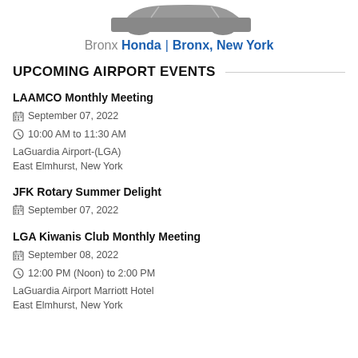[Figure (illustration): Partial view of a car silhouette at the top of the page]
Bronx Honda | Bronx, New York
UPCOMING AIRPORT EVENTS
LAAMCO Monthly Meeting
September 07, 2022
10:00 AM to 11:30 AM
LaGuardia Airport-(LGA)
East Elmhurst, New York
JFK Rotary Summer Delight
September 07, 2022
LGA Kiwanis Club Monthly Meeting
September 08, 2022
12:00 PM (Noon) to 2:00 PM
LaGuardia Airport Marriott Hotel
East Elmhurst, New York